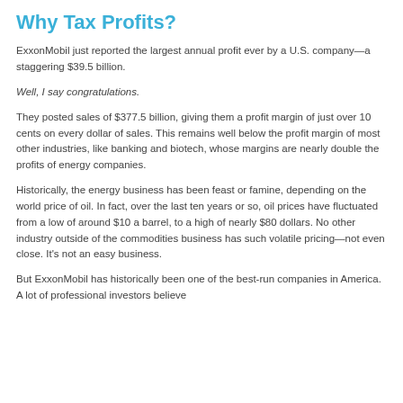Why Tax Profits?
ExxonMobil just reported the largest annual profit ever by a U.S. company—a staggering $39.5 billion.
Well, I say congratulations.
They posted sales of $377.5 billion, giving them a profit margin of just over 10 cents on every dollar of sales. This remains well below the profit margin of most other industries, like banking and biotech, whose margins are nearly double the profits of energy companies.
Historically, the energy business has been feast or famine, depending on the world price of oil. In fact, over the last ten years or so, oil prices have fluctuated from a low of around $10 a barrel, to a high of nearly $80 dollars. No other industry outside of the commodities business has such volatile pricing—not even close. It's not an easy business.
But ExxonMobil has historically been one of the best-run companies in America. A lot of professional investors believe